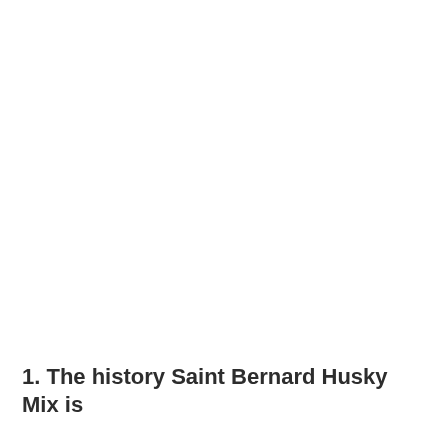1. The history Saint Bernard Husky Mix is